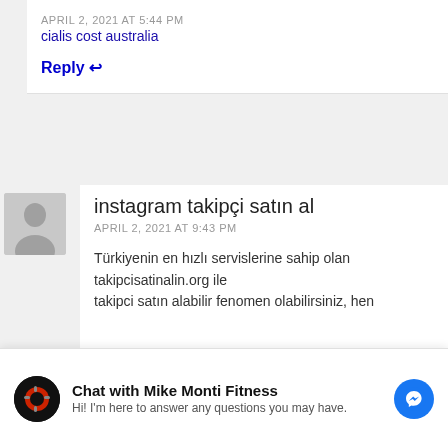APRIL 2, 2021 AT 5:44 PM
cialis cost australia
Reply ↩
instagram takipçi satın al
APRIL 2, 2021 AT 9:43 PM
Türkiyenin en hızlı servislerine sahip olan takipcisatinalin.org ile takipci satın alabilir fenomen olabilirsiniz, hen
Chat with Mike Monti Fitness
Hi! I'm here to answer any questions you may have.